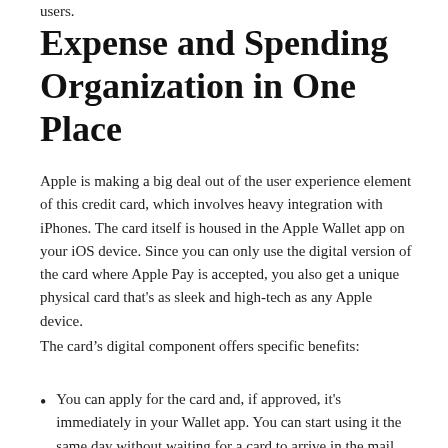users.
Expense and Spending Organization in One Place
Apple is making a big deal out of the user experience element of this credit card, which involves heavy integration with iPhones. The card itself is housed in the Apple Wallet app on your iOS device. Since you can only use the digital version of the card where Apple Pay is accepted, you also get a unique physical card that's as sleek and high-tech as any Apple device.
The card’s digital component offers specific benefits:
You can apply for the card and, if approved, it's immediately in your Wallet app. You can start using it the same day without waiting for a card to arrive in the mail.